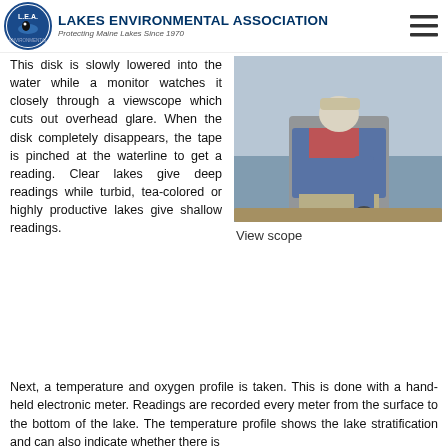LAKES ENVIRONMENTAL ASSOCIATION — Protecting Maine Lakes Since 1970
This disk is slowly lowered into the water while a monitor watches it closely through a viewscope which cuts out overhead glare. When the disk completely disappears, the tape is pinched at the waterline to get a reading. Clear lakes give deep readings while turbid, tea-colored or highly productive lakes give shallow readings.
[Figure (photo): Person on a boat lowering a Secchi disk into the water using a viewscope]
View scope
Next, a temperature and oxygen profile is taken. This is done with a hand-held electronic meter. Readings are recorded every meter from the surface to the bottom of the lake. The temperature profile shows the lake stratification and can also indicate whether there is